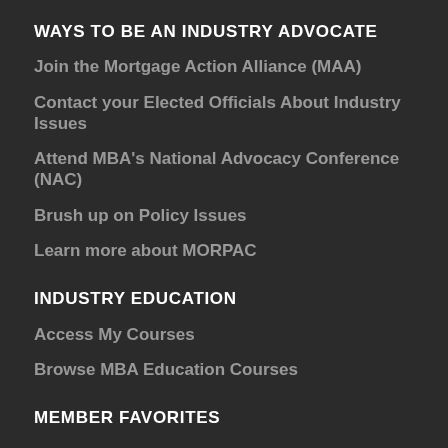WAYS TO BE AN INDUSTRY ADVOCATE
Join the Mortgage Action Alliance (MAA)
Contact your Elected Officials About Industry Issues
Attend MBA's National Advocacy Conference (NAC)
Brush up on Policy Issues
Learn more about MORPAC
INDUSTRY EDUCATION
Access My Courses
Browse MBA Education Courses
MEMBER FAVORITES